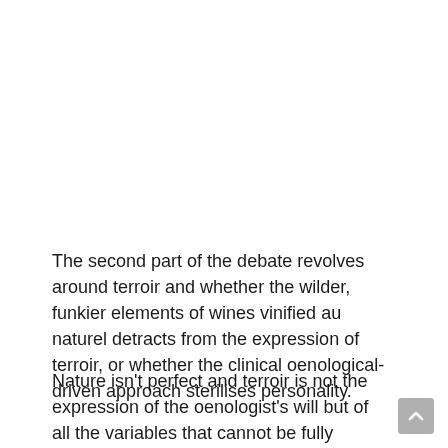The second part of the debate revolves around terroir and whether the wilder, funkier elements of wines vinified au naturel detracts from the expression of terroir, or whether the clinical oenological-driven approach sterilises personality.
Nature isn't perfect and terroir is not the expression of the oenologist's will but of all the variables that cannot be fully governed by the